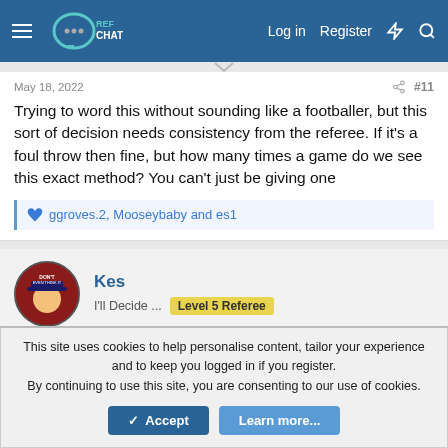Ref Chat — Log in | Register
May 18, 2022  #11
Trying to word this without sounding like a footballer, but this sort of decision needs consistency from the referee. If it's a foul throw then fine, but how many times a game do we see this exact method? You can't just be giving one
ggroves.2, Mooseybaby and es1
Kes
I'll Decide ...  Level 5 Referee
May 18, 2022  #12
This site uses cookies to help personalise content, tailor your experience and to keep you logged in if you register.
By continuing to use this site, you are consenting to our use of cookies.